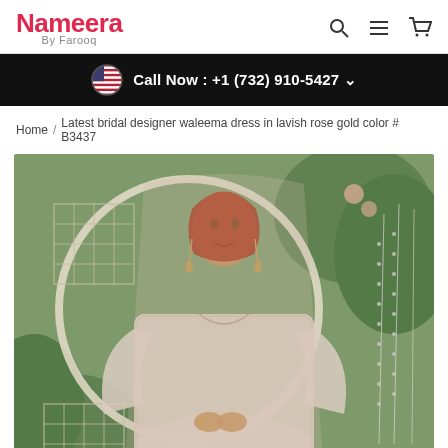Nameera By Farooq
Call Now : +1 (732) 910-5427
Home / Latest bridal designer waleema dress in lavish rose gold color # B3437
[Figure (photo): A bride wearing a lavish rose gold bridal waleema dress with intricate embroidery, dupatta, and jewelry, standing in a garden-like setting with a round mirror arch and greenery in the background.]